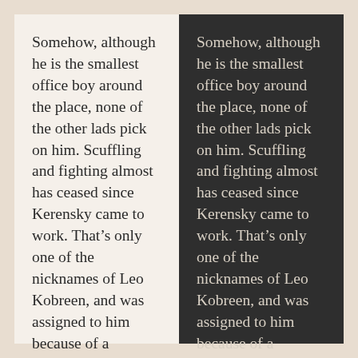Somehow, although he is the smallest office boy around the place, none of the other lads pick on him. Scuffling and fighting almost has ceased since Kerensky came to work. That’s only one of the nicknames of Leo Kobreen, and was assigned to him because of a considerable facial resemblance to the perpetually fleeing Russian statesman, and, too, because both wore quite formal standing collars.
Somehow, although he is the smallest office boy around the place, none of the other lads pick on him. Scuffling and fighting almost has ceased since Kerensky came to work. That’s only one of the nicknames of Leo Kobreen, and was assigned to him because of a considerable facial resemblance to the perpetually fleeing Russian statesman, and, too, because both wore quite formal standing collars.